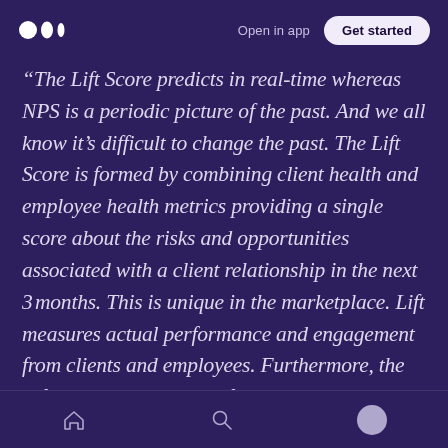Open in app  Get started
“The Lift Score predicts in real-time whereas NPS is a periodic picture of the past. And we all know it’s difficult to change the past. The Lift Score is formed by combining client health and employee health metrics providing a single score about the risks and opportunities associated with a client relationship in the next 3 months. This is unique in the marketplace. Lift measures actual performance and engagement from clients and employees. Furthermore, the Lift Score works as a self-learning engine over time for each client meaning it’s more dependable than a static NPS score that doesn’t learn or evolve over
home  search  profile